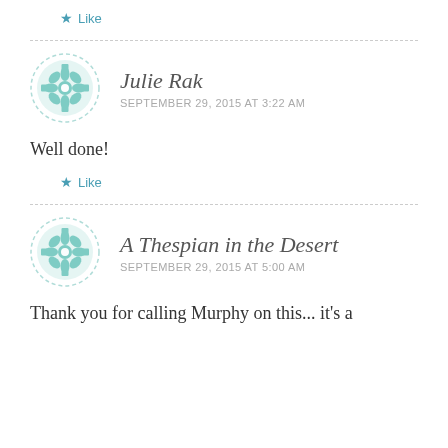★ Like
Julie Rak
SEPTEMBER 29, 2015 AT 3:22 AM
Well done!
★ Like
A Thespian in the Desert
SEPTEMBER 29, 2015 AT 5:00 AM
Thank you for calling Murphy on this... it's a